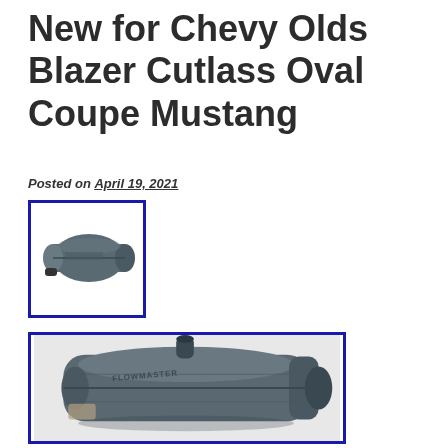New for Chevy Olds Blazer Cutlass Oval Coupe Mustang
Posted on April 19, 2021
[Figure (photo): Small thumbnail photo of a dark grey oval Flowmaster muffler with a pipe inlet, shown from a slight angle, inside a blue border box.]
[Figure (photo): Large close-up photo of a dark grey oval Flowmaster muffler showing the top and side with the Flowmaster logo embossed, inside a blue border box.]